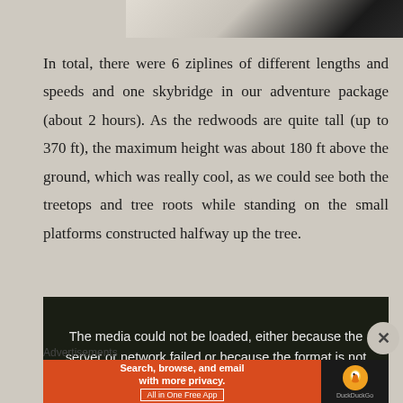[Figure (photo): Partial view of a document or cards at the top of the page]
In total, there were 6 ziplines of different lengths and speeds and one skybridge in our adventure package (about 2 hours). As the redwoods are quite tall (up to 370 ft), the maximum height was about 180 ft above the ground, which was really cool, as we could see both the treetops and tree roots while standing on the small platforms constructed halfway up the tree.
[Figure (screenshot): Video player showing error message: 'The media could not be loaded, either because the server or network failed or because the format is not']
Advertisements
[Figure (screenshot): DuckDuckGo advertisement banner: 'Search, browse, and email with more privacy. All in One Free App']